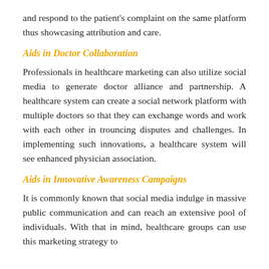and respond to the patient's complaint on the same platform thus showcasing attribution and care.
Aids in Doctor Collaboration
Professionals in healthcare marketing can also utilize social media to generate doctor alliance and partnership. A healthcare system can create a social network platform with multiple doctors so that they can exchange words and work with each other in trouncing disputes and challenges. In implementing such innovations, a healthcare system will see enhanced physician association.
Aids in Innovative Awareness Campaigns
It is commonly known that social media indulge in massive public communication and can reach an extensive pool of individuals. With that in mind, healthcare groups can use this marketing strategy to